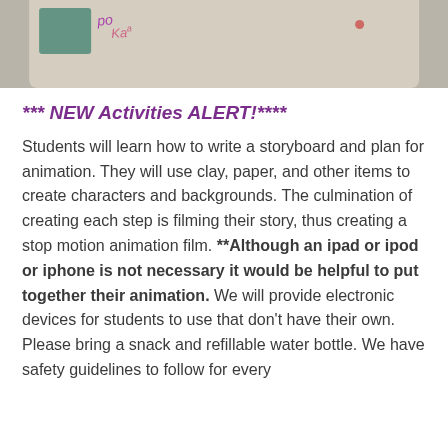[Figure (photo): Partial photo strip showing a beige/grey background with a teal painted patch on the left and handwritten text 'po Ka' in purple/pink marker, with a small red dot to the right.]
*** NEW Activities ALERT!****
Students will learn how to write a storyboard and plan for animation. They will use clay, paper, and other items to create characters and backgrounds. The culmination of creating each step is filming their story, thus creating a stop motion animation film. **Although an ipad or ipod or iphone is not necessary it would be helpful to put together their animation. We will provide electronic devices for students to use that don't have their own. Please bring a snack and refillable water bottle. We have safety guidelines to follow for every